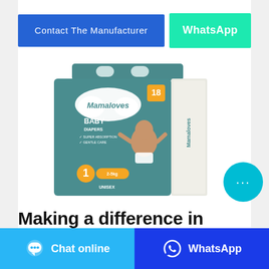[Figure (other): Blue button labeled 'Contact The Manufacturer' and green button labeled 'WhatsApp']
[Figure (photo): Product photo of Mamaloves Baby Diapers package, teal/green box with a baby image, size 1 (2-5kg), Unisex]
Making a difference in
[Figure (other): Bottom bar with two buttons: light blue 'Chat online' button with chat icon, and dark blue 'WhatsApp' button with WhatsApp icon]